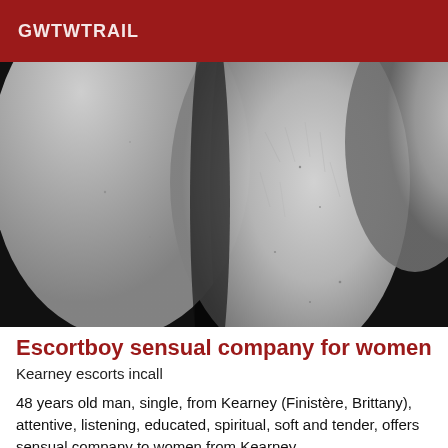GWTWTRAIL
[Figure (photo): Close-up black and white photograph of human legs/limbs intertwined against a dark background]
Escortboy sensual company for women
Kearney escorts incall
48 years old man, single, from Kearney (Finistère, Brittany), attentive, listening, educated, spiritual, soft and tender, offers sensual company to women from Kearney